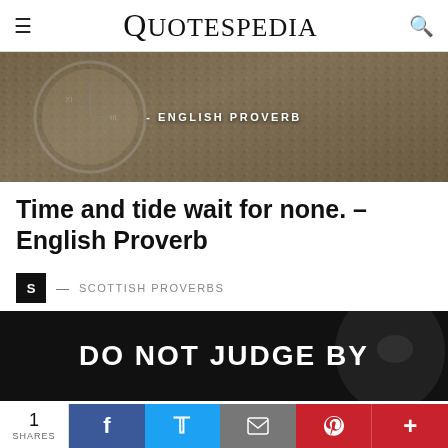QUOTESPEDIA
[Figure (photo): Background image with gravel texture and a pocket watch, with text '- ENGLISH PROVERB' overlaid in white bold uppercase letters]
Time and tide wait for none. – English Proverb
S — SCOTTISH PROVERBS
[Figure (photo): Dark black and white image with bold white text 'DO NOT JUDGE BY']
1 SHARES  f  t  [email]  p  +